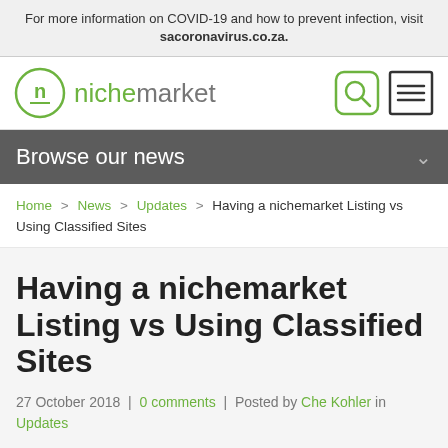For more information on COVID-19 and how to prevent infection, visit sacoronavirus.co.za.
[Figure (logo): Nichemarket logo with circular n icon and text 'nichemarket', plus search and menu icons]
Browse our news
Home > News > Updates > Having a nichemarket Listing vs Using Classified Sites
Having a nichemarket Listing vs Using Classified Sites
27 October 2018 | 0 comments | Posted by Che Kohler in
Updates